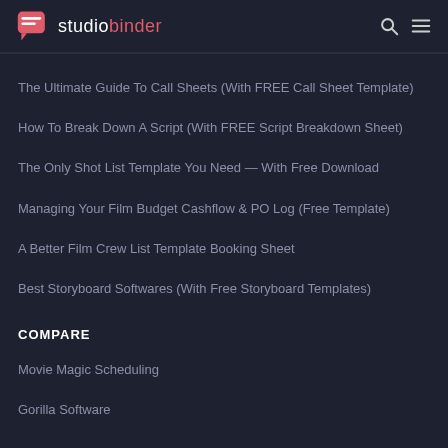studiobinder
The Ultimate Guide To Call Sheets (With FREE Call Sheet Template)
How To Break Down A Script (With FREE Script Breakdown Sheet)
The Only Shot List Template You Need — With Free Download
Managing Your Film Budget Cashflow & PO Log (Free Template)
A Better Film Crew List Template Booking Sheet
Best Storyboard Softwares (With Free Storyboard Templates)
COMPARE
Movie Magic Scheduling
Gorilla Software